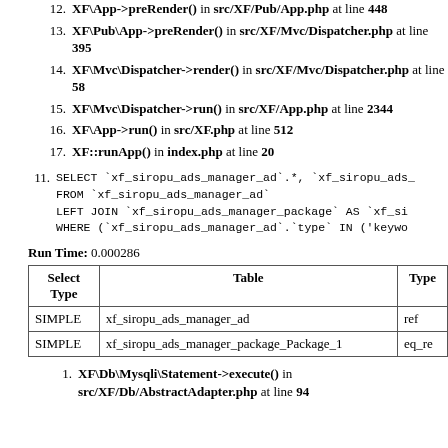12. XF\App->preRender() in src/XF/Pub/App.php at line 448
13. XF\Pub\App->preRender() in src/XF/Mvc/Dispatcher.php at line 395
14. XF\Mvc\Dispatcher->render() in src/XF/Mvc/Dispatcher.php at line 58
15. XF\Mvc\Dispatcher->run() in src/XF/App.php at line 2344
16. XF\App->run() in src/XF.php at line 512
17. XF::runApp() in index.php at line 20
11. SELECT `xf_siropu_ads_manager_ad`.*, `xf_siropu_ads_
FROM `xf_siropu_ads_manager_ad`
LEFT JOIN `xf_siropu_ads_manager_package` AS `xf_si
WHERE (`xf_siropu_ads_manager_ad`.`type` IN ('keywo
Run Time: 0.000286
| Select Type | Table | Type |
| --- | --- | --- |
| SIMPLE | xf_siropu_ads_manager_ad | ref |
| SIMPLE | xf_siropu_ads_manager_package_Package_1 | eq_re |
1. XF\Db\Mysqli\Statement->execute() in src/XF/Db/AbstractAdapter.php at line 94